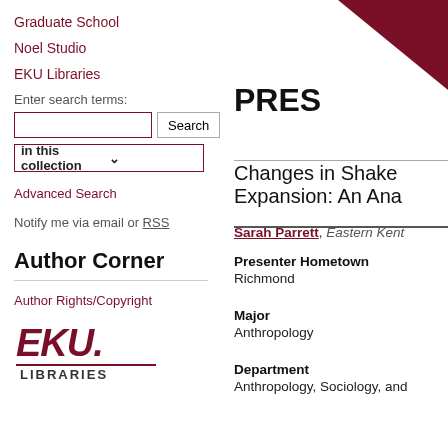Graduate School
Noel Studio
EKU Libraries
Enter search terms:
in this collection
Advanced Search
Notify me via email or RSS
Author Corner
Author Rights/Copyright
[Figure (logo): EKU Libraries logo — italicized EKU wordmark in maroon with LIBRARIES text below]
[Figure (illustration): Maroon decorative triangle in upper right corner]
PRES
Changes in Shake Expansion: An Ana
Sarah Parrett, Eastern Kent
Presenter Hometown
Richmond
Major
Anthropology
Department
Anthropology, Sociology, and